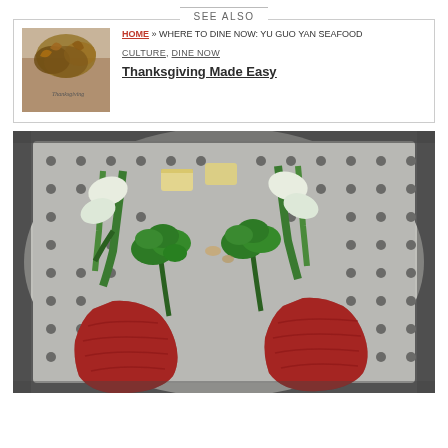SEE ALSO
[Figure (photo): Thumbnail image of autumn leaves and table setting for Thanksgiving article]
HOME » WHERE TO DINE NOW: YU GUO YAN SEAFOOD
CULTURE, DINE NOW
Thanksgiving Made Easy
[Figure (photo): Overhead photo of meat and vegetables (broccoli, bok choy, tofu) on a perforated metal grill pan]